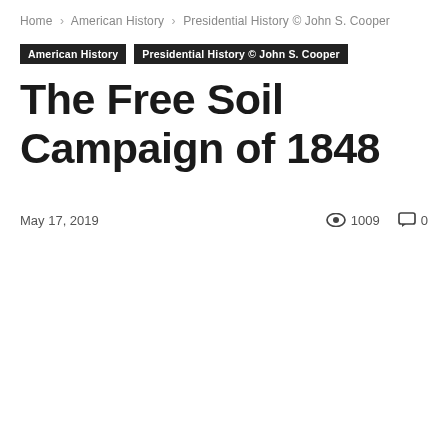Home › American History › Presidential History © John S. Cooper
American History   Presidential History © John S. Cooper
The Free Soil Campaign of 1848
May 17, 2019   1009   0